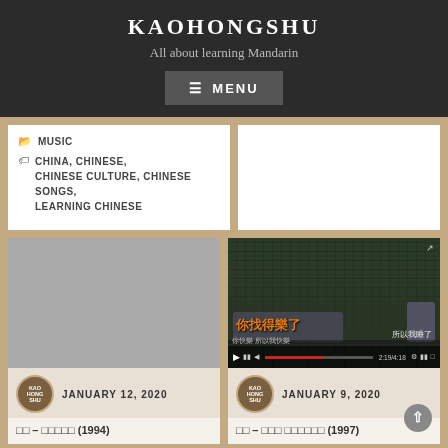KAOHONGSHU
All about learning Mandarin
MENU
MUSIC
CHINA, CHINESE, CHINESE CULTURE, CHINESE SONGS, LEARNING CHINESE
[Figure (photo): Gray placeholder thumbnail for a blog post]
JANUARY 12, 2020
□□ – □□□□□ (1994)
[Figure (screenshot): Video thumbnail showing a person on a couch with Chinese text overlay, video player controls visible. Chinese text: 你快樂 所以我睡了]
JANUARY 9, 2020
□□ – □□□ □□□□□□ (1997)